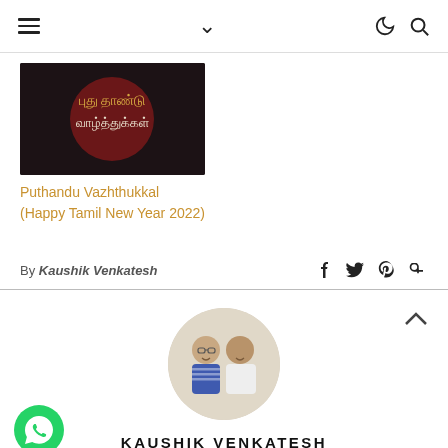Navigation bar with hamburger menu, dropdown chevron, dark mode and search icons
[Figure (photo): Thumbnail image with dark background showing Tamil text in gold/white colors]
Puthandu Vazhthukkal (Happy Tamil New Year 2022)
By Kaushik Venkatesh
[Figure (photo): Circular author profile photo showing two men smiling]
KAUSHIK VENKATESH